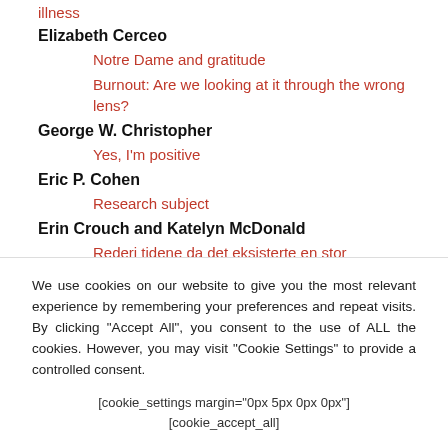illness
Elizabeth Cerceo
Notre Dame and gratitude
Burnout: Are we looking at it through the wrong lens?
George W. Christopher
Yes, I'm positive
Eric P. Cohen
Research subject
Erin Crouch and Katelyn McDonald
We use cookies on our website to give you the most relevant experience by remembering your preferences and repeat visits. By clicking “Accept All”, you consent to the use of ALL the cookies. However, you may visit "Cookie Settings" to provide a controlled consent.
[cookie_settings margin="0px 5px 0px 0px"] [cookie_accept_all]